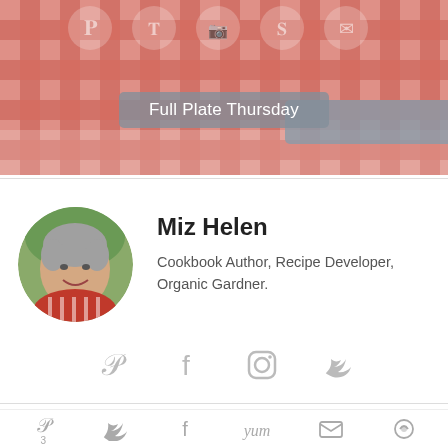[Figure (photo): Red and white gingham checkered banner with social media icons at top and 'Full Plate Thursday' label in gray overlay]
Full Plate Thursday
[Figure (photo): Circular profile photo of Miz Helen, a woman with short gray hair wearing a red and white striped shirt, smiling outdoors]
Miz Helen
Cookbook Author, Recipe Developer, Organic Gardner.
[Figure (infographic): Row of four social media icons: Pinterest, Facebook, Instagram, Twitter in light gray]
MORE FROM MY RECIPE BOX!
[Figure (infographic): Bottom share bar with Pinterest, Twitter, Facebook, Yum, email, and circular share icons, with number 3 below Pinterest]